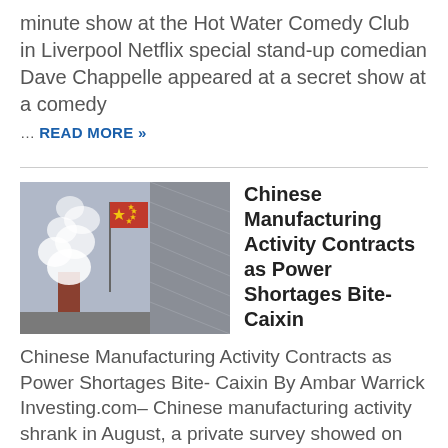minute show at the Hot Water Comedy Club in Liverpool Netflix special stand-up comedian Dave Chappelle appeared at a secret show at a comedy
… READ MORE »
[Figure (photo): Smoke rising from industrial chimneys with a Chinese flag in the foreground and a building in the background]
Chinese Manufacturing Activity Contracts as Power Shortages Bite- Caixin
Chinese Manufacturing Activity Contracts as Power Shortages Bite- Caixin By Ambar Warrick Investing.com– Chinese manufacturing activity shrank in August, a private survey showed on Thursday, as COVID lockdowns and a drought-driven … READ MORE »
[Figure (photo): Dark image, beginning of another article]
'Significant barriers'